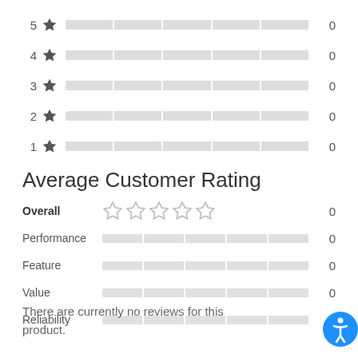[Figure (bar-chart): Star rating distribution]
Average Customer Rating
| Category | Rating | Score |
| --- | --- | --- |
| Overall | (5 stars empty) | 0 |
| Performance | (bar empty) | 0 |
| Feature | (bar empty) | 0 |
| Value | (bar empty) | 0 |
| Reliability | (bar empty) | 0 |
There are currently no reviews for this product.